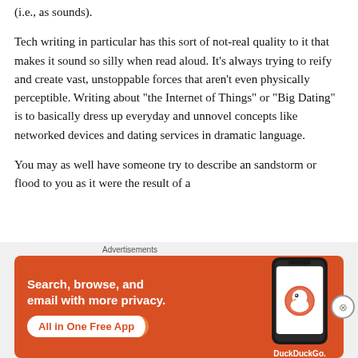(i.e., as sounds).
Tech writing in particular has this sort of not-real quality to it that makes it sound so silly when read aloud. It’s always trying to reify and create vast, unstoppable forces that aren’t even physically perceptible. Writing about “the Internet of Things” or “Big Dating” is to basically dress up everyday and unnovel concepts like networked devices and dating services in dramatic language.
You may as well have someone try to describe an sandstorm or flood to you as it were the result of a
Advertisements
[Figure (infographic): DuckDuckGo advertisement banner: orange background with white text 'Search, browse, and email with more privacy. All in One Free App' with a phone graphic and DuckDuckGo logo.]